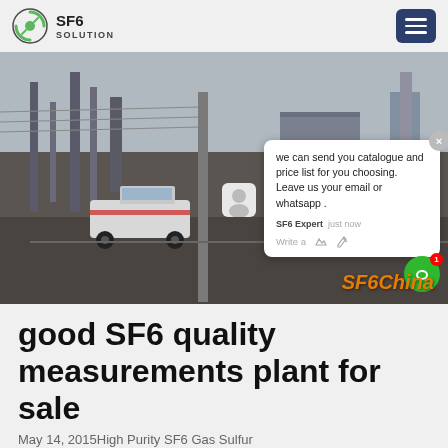SF6 SOLUTION
[Figure (photo): Electrical substation with transformers, utility trucks including a white pickup and yellow vehicle, power lines and industrial equipment. An SF6 expert chat popup overlay is visible showing a message: 'we can send you catalogue and price list for you choosing. Leave us your email or whatsapp.' with SF6China watermark in orange at bottom right.]
good SF6 quality measurements plant for sale
May 14, 2015High Purity SF6 Gas Sulfur